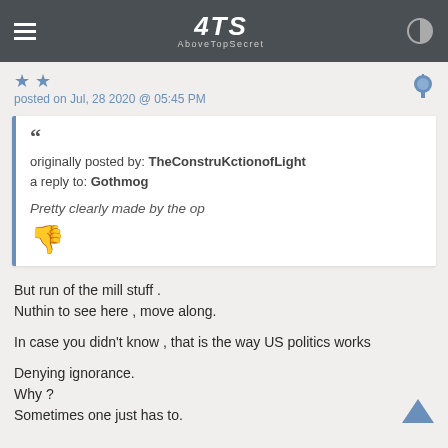ATS AboveTopSecret
posted on Jul, 28 2020 @ 05:45 PM
originally posted by: TheConstruKctionofLight
a reply to: Gothmog

Pretty clearly made by the op
But run of the mill stuff .
Nuthin to see here , move along.

In case you didn't know , that is the way US politics works

Denying ignorance.
Why ?
Sometimes one just has to.